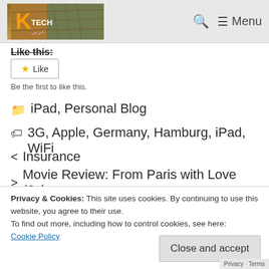TECH [logo] | Search | Menu
Like this:
Like
Be the first to like this.
iPad, Personal Blog
3G, Apple, Germany, Hamburg, iPad, WiFi
< Insurance
> Movie Review: From Paris with Love (John
Privacy & Cookies: This site uses cookies. By continuing to use this website, you agree to their use.
To find out more, including how to control cookies, see here:
Cookie Policy
Close and accept
Privacy · Terms